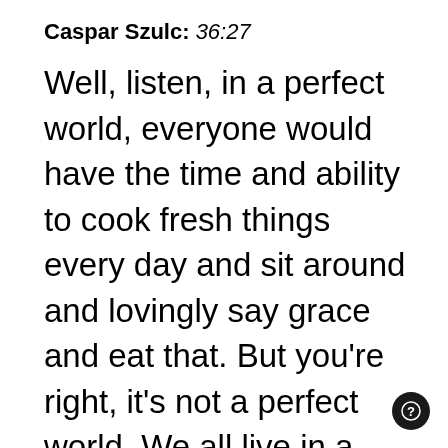Caspar Szulc: 36:27
Well, listen, in a perfect world, everyone would have the time and ability to cook fresh things every day and sit around and lovingly say grace and eat that. But you're right, it's not a perfect world. We all live in a pretty hectic world. And I think it's a great step towards getting